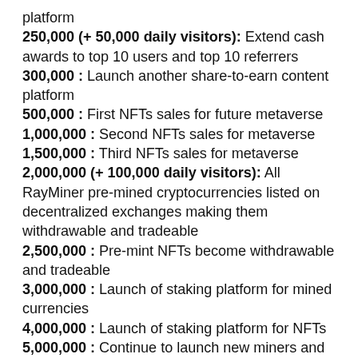platform
250,000 (+ 50,000 daily visitors): Extend cash awards to top 10 users and top 10 referrers
300,000 : Launch another share-to-earn content platform
500,000 : First NFTs sales for future metaverse
1,000,000 : Second NFTs sales for metaverse
1,500,000 : Third NFTs sales for metaverse
2,000,000 (+ 100,000 daily visitors): All RayMiner pre-mined cryptocurrencies listed on decentralized exchanges making them withdrawable and tradeable
2,500,000 : Pre-mint NFTs become withdrawable and tradeable
3,000,000 : Launch of staking platform for mined currencies
4,000,000 : Launch of staking platform for NFTs
5,000,000 : Continue to launch new miners and